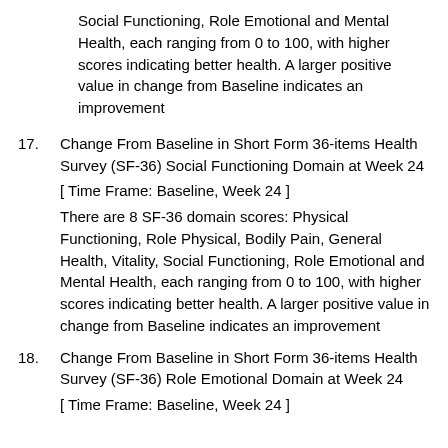Social Functioning, Role Emotional and Mental Health, each ranging from 0 to 100, with higher scores indicating better health. A larger positive value in change from Baseline indicates an improvement
17. Change From Baseline in Short Form 36-items Health Survey (SF-36) Social Functioning Domain at Week 24 [ Time Frame: Baseline, Week 24 ] There are 8 SF-36 domain scores: Physical Functioning, Role Physical, Bodily Pain, General Health, Vitality, Social Functioning, Role Emotional and Mental Health, each ranging from 0 to 100, with higher scores indicating better health. A larger positive value in change from Baseline indicates an improvement
18. Change From Baseline in Short Form 36-items Health Survey (SF-36) Role Emotional Domain at Week 24 [ Time Frame: Baseline, Week 24 ]